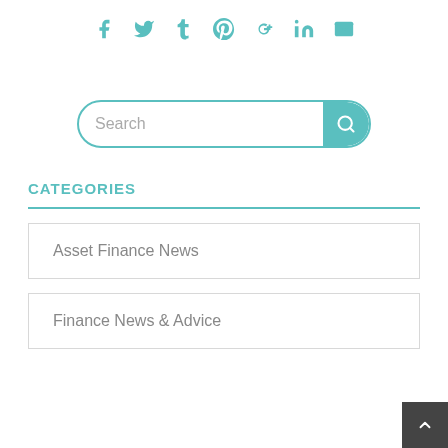[Figure (infographic): Social media share icons row: Facebook, Twitter, Tumblr, Pinterest, Google+, LinkedIn, Email — all in teal color]
[Figure (other): Search bar with teal border, placeholder text 'Search', and teal search button with magnifying glass icon]
CATEGORIES
Asset Finance News
Finance News & Advice